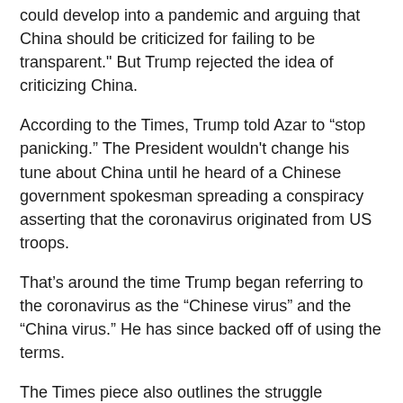could develop into a pandemic and arguing that China should be criticized for failing to be transparent." But Trump rejected the idea of criticizing China.
According to the Times, Trump told Azar to “stop panicking.” The President wouldn't change his tune about China until he heard of a Chinese government spokesman spreading a conspiracy asserting that the coronavirus originated from US troops.
That’s around the time Trump began referring to the coronavirus as the “Chinese virus” and the “China virus.” He has since backed off of using the terms.
The Times piece also outlines the struggle between national security and economic advisers over steps that should be taken in regard to China, a move Trump points to in order to show that he took the threat of coronavirus seriously from the start.Matthew Pottinger, the deputy national security adviser,